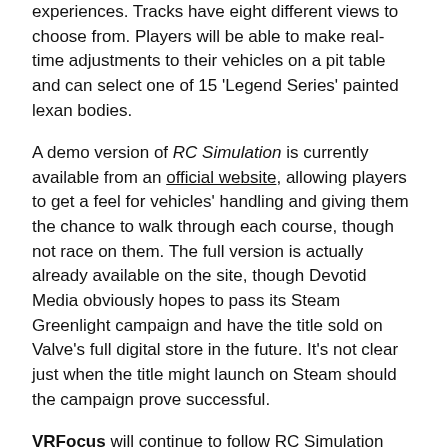experiences. Tracks have eight different views to choose from. Players will be able to make real-time adjustments to their vehicles on a pit table and can select one of 15 'Legend Series' painted lexan bodies.
A demo version of RC Simulation is currently available from an official website, allowing players to get a feel for vehicles' handling and giving them the chance to walk through each course, though not race on them. The full version is actually already available on the site, though Devotid Media obviously hopes to pass its Steam Greenlight campaign and have the title sold on Valve's full digital store in the future. It's not clear just when the title might launch on Steam should the campaign prove successful.
VRFocus will continue to follow RC Simulation closely, reporting back with any further updates on the project.